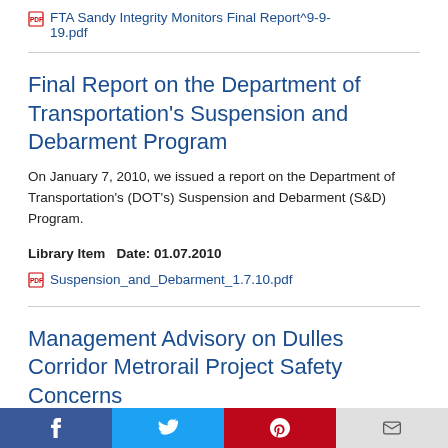FTA Sandy Integrity Monitors Final Report^9-9-19.pdf
Final Report on the Department of Transportation's Suspension and Debarment Program
On January 7, 2010, we issued a report on the Department of Transportation's (DOT's) Suspension and Debarment (S&D) Program.
Library Item   Date: 01.07.2010
Suspension_and_Debarment_1.7.10.pdf
Management Advisory on Dulles Corridor Metrorail Project Safety Concerns
The Office of Inspector General (OIG) issued a management advisory to the Federal Transit
Social share buttons: Facebook, Twitter, Pinterest, Email